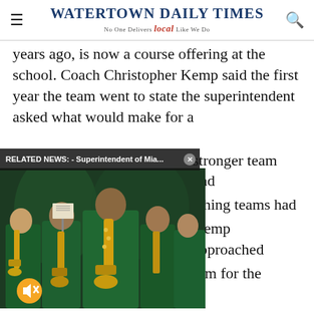Watertown Daily Times
years ago, is now a course offering at the school. Coach Christopher Kemp said the first year the team went to state the superintendent asked what would make for a stronger team and
RELATED NEWS: - Superintendent of Mia...
[Figure (photo): Marching band members in green uniforms playing saxophones and other instruments]
ishing teams had Kemp approached lum for the
while it was the first time the school won the national competition, it has placed in the top three in the past six competitions. The team from Watertown was the division champions for